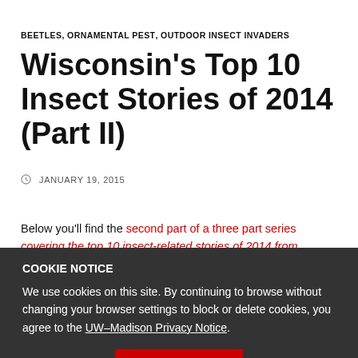BEETLES, ORNAMENTAL PEST, OUTDOOR INSECT INVADERS
Wisconsin’s Top 10 Insect Stories of 2014 (Part II)
JANUARY 19, 2015
Below you’ll find the second part of a three part series covering the top 10 insect-related stories of 2014 from Wisconsin.
COOKIE NOTICE
We use cookies on this site. By continuing to browse without changing your browser settings to block or delete cookies, you agree to the UW–Madison Privacy Notice.
GOT IT!